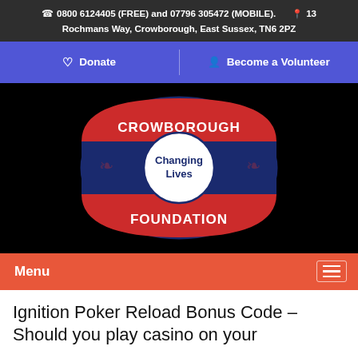☎ 0800 6124405 (FREE) and 07796 305472 (MOBILE). 📍 13 Rochmans Way, Crowborough, East Sussex, TN6 2PZ
♡ Donate  👤 Become a Volunteer
[Figure (logo): Crowborough Foundation logo — oval badge with red top and bottom sections reading CROWBOROUGH and FOUNDATION, blue middle band, white circle center with text Changing Lives]
Menu
Ignition Poker Reload Bonus Code – Should you play casino on your